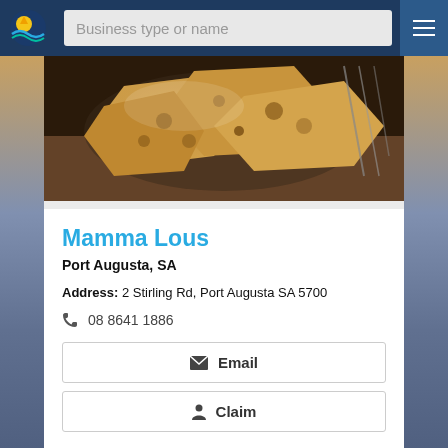Business type or name
[Figure (photo): Close-up photo of flatbread/naan pieces in a basket]
Mamma Lous
Port Augusta, SA
Address: 2 Stirling Rd, Port Augusta SA 5700
08 8641 1886
Email
Claim